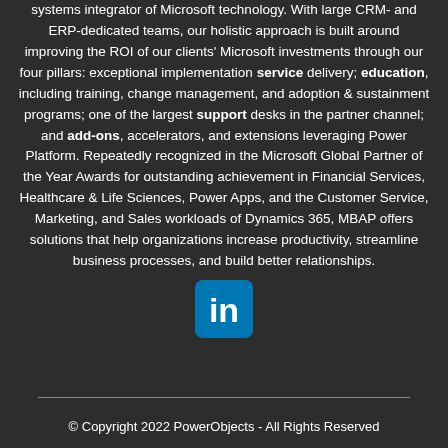systems integrator of Microsoft technology. With large CRM- and ERP-dedicated teams, our holistic approach is built around improving the ROI of our clients' Microsoft investments through our four pillars: exceptional implementation service delivery; education, including training, change management, and adoption & sustainment programs; one of the largest support desks in the partner channel; and add-ons, accelerators, and extensions leveraging Power Platform. Repeatedly recognized in the Microsoft Global Partner of the Year Awards for outstanding achievement in Financial Services, Healthcare & Life Sciences, Power Apps, and the Customer Service, Marketing, and Sales workloads of Dynamics 365, MBAP offers solutions that help organizations increase productivity, streamline business processes, and build better relationships.
[Figure (logo): LinkedIn icon - blue rounded square with white 'in' text]
© Copyright 2022 PowerObjects - All Rights Reserved